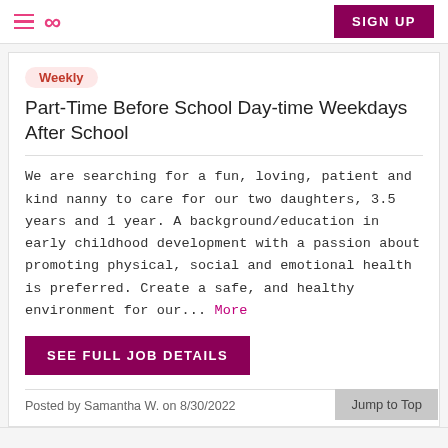Navigation bar with hamburger menu, infinity logo, and SIGN UP button
Weekly
Part-Time Before School Day-time Weekdays After School
We are searching for a fun, loving, patient and kind nanny to care for our two daughters, 3.5 years and 1 year. A background/education in early childhood development with a passion about promoting physical, social and emotional health is preferred. Create a safe, and healthy environment for our... More
SEE FULL JOB DETAILS
Posted by Samantha W. on 8/30/2022
Report job